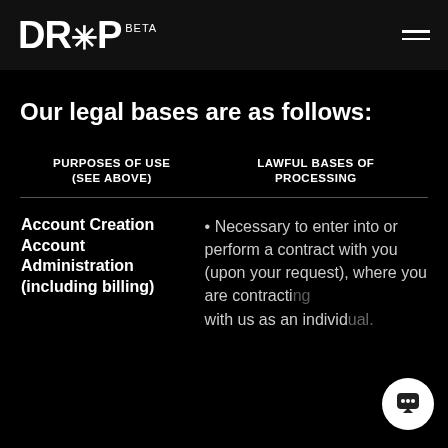DR*P BETA
Our legal bases are as follows:
| PURPOSES OF USE (SEE ABOVE) | LAWFUL BASES OF PROCESSING |
| --- | --- |
| Account Creation Account Administration (including billing) | • Necessary to enter into or perform a contract with you (upon your request), where you are contracting with us as an individual. |